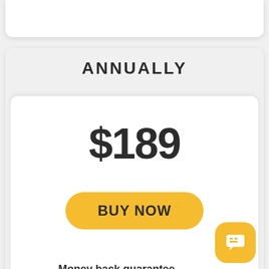ANNUALLY
$189
BUY NOW
Money back guarantee